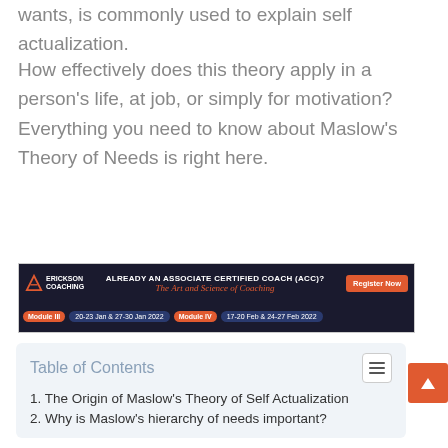the top of a hierarchy above your 'lower' wants, is commonly used to explain self actualization.
How effectively does this theory apply in a person's life, at job, or simply for motivation? Everything you need to know about Maslow's Theory of Needs is right here.
[Figure (infographic): Erickson coaching advertisement banner: ALREADY AN ASSOCIATE CERTIFIED COACH (ACC)? The Art and Science of Coaching. Register Now button. Module III 20-23 Jan & 27-30 Jan 2022 | Module IV 17-20 Feb & 24-27 Feb 2022]
| Table of Contents |
| --- |
| 1. The Origin of Maslow's Theory of Self Actualization |
| 2. Why is Maslow's hierarchy of needs important? |